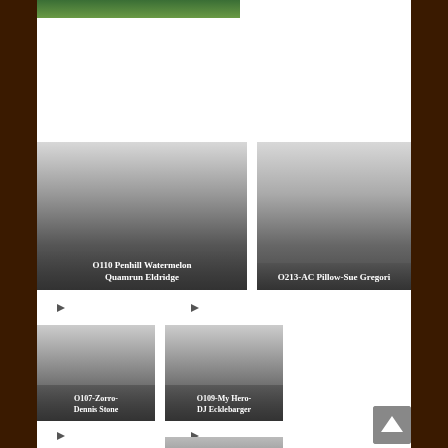[Figure (photo): Partial top image strip, green/nature photo cropped]
[Figure (photo): Card: O110 Penhill Watermelon Quamrun Eldridge, gray gradient card with white text label]
[Figure (photo): Card: O213-AC Pillow-Sue Gregori, gray gradient card with white text label]
[Figure (other): Right-pointing arrow icon below left card]
[Figure (other): Right-pointing arrow icon below right card]
[Figure (photo): Card: O107-Zorro-Dennis Stone, smaller gray gradient card with white text label]
[Figure (photo): Card: O109-My Hero-DJ Ecklebarger, smaller gray gradient card with white text label]
[Figure (other): Right-pointing arrow icon at bottom left]
[Figure (other): Right-pointing arrow icon at bottom right]
[Figure (photo): Partial card visible at bottom]
[Figure (other): Back to top button with upward arrow, gray background]